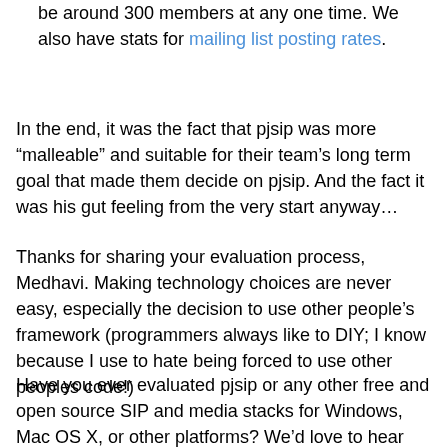be around 300 members at any one time. We also have stats for mailing list posting rates.
In the end, it was the fact that pjsip was more “malleable” and suitable for their team’s long term goal that made them decide on pjsip. And the fact it was his gut feeling from the very start anyway…
Thanks for sharing your evaluation process, Medhavi. Making technology choices are never easy, especially the decision to use other people’s framework (programmers always like to DIY; I know because I use to hate being forced to use other peoples code!)
Have you ever evaluated pjsip or any other free and open source SIP and media stacks for Windows, Mac OS X, or other platforms? We’d love to hear them!